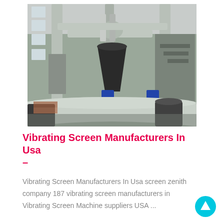[Figure (photo): Industrial facility interior showing large machinery with cylindrical vessels, pipes, metal structures, and conveyors in a warehouse-like building.]
Vibrating Screen Manufacturers In Usa –
Vibrating Screen Manufacturers In Usa screen zenith company 187 vibrating screen manufacturers in Vibrating Screen Machine suppliers USA ...